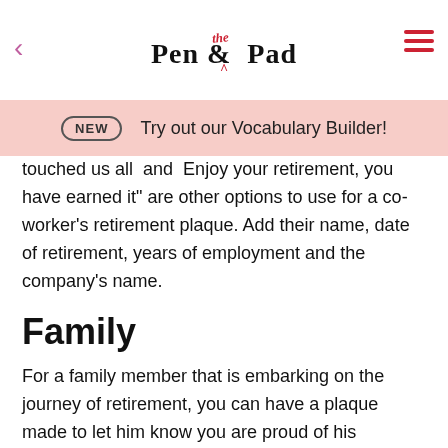Pen & the Pad
NEW  Try out our Vocabulary Builder!
touched us all  and  Enjoy your retirement, you have earned it" are other options to use for a co-worker's retirement plaque. Add their name, date of retirement, years of employment and the company's name.
Family
For a family member that is embarking on the journey of retirement, you can have a plaque made to let him know you are proud of his accomplishment. Something like "Congratulations and Best Wishes" or "We are all so proud of you" would be fitting. Inspirational quotes, such as "The